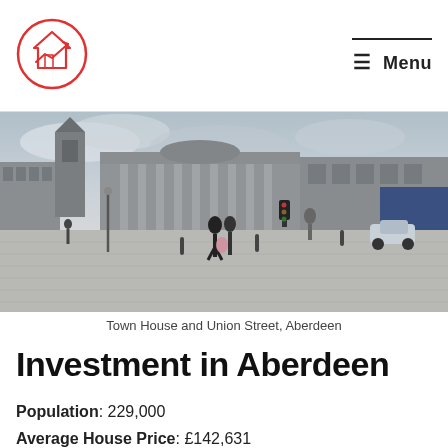[Figure (logo): Circular logo with a house icon and upward trending arrow, red outline]
≡  Menu
[Figure (photo): Street-level photograph of Town House and Union Street, Aberdeen. Neoclassical stone buildings, cobblestone square, two people walking in foreground, cloudy sky.]
Town House and Union Street, Aberdeen
Investment in Aberdeen
Population: 229,000
Average House Price: £142,631